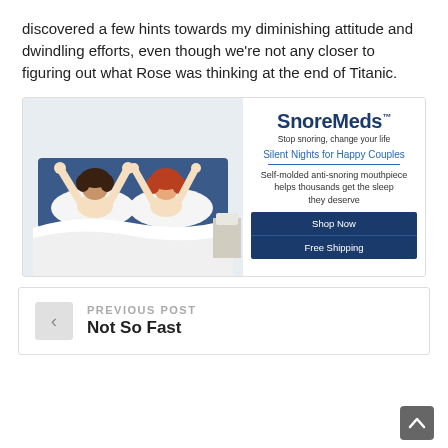discovered a few hints towards my diminishing attitude and dwindling efforts, even though we're not any closer to figuring out what Rose was thinking at the end of Titanic.
[Figure (infographic): SnoreMeds advertisement showing couple in bed with arms raised, with brand name, tagline 'Stop snoring, change your life', 'Silent Nights for Happy Couples', description of self-molded anti-snoring mouthpiece, Shop Now and Free Shipping buttons]
PREVIOUS POST
Not So Fast